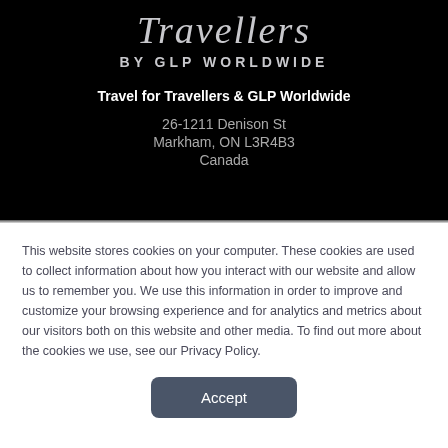Travellers
BY GLP WORLDWIDE
Travel for Travellers & GLP Worldwide
26-1211 Denison St
Markham, ON L3R4B3
Canada
This website stores cookies on your computer. These cookies are used to collect information about how you interact with our website and allow us to remember you. We use this information in order to improve and customize your browsing experience and for analytics and metrics about our visitors both on this website and other media. To find out more about the cookies we use, see our Privacy Policy.
Accept